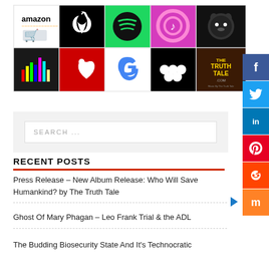[Figure (logo): Grid of streaming platform logos: Amazon, Apple, Spotify, iTunes, Napster (top row); Deezer, iHeartRadio, Google Play, Tidal, The Truth Tale (bottom row)]
[Figure (other): Social media sharing sidebar buttons: Facebook, Twitter, LinkedIn, Pinterest, Reddit, Mix]
SEARCH ...
RECENT POSTS
Press Release – New Album Release: Who Will Save Humankind? by The Truth Tale
Ghost Of Mary Phagan – Leo Frank Trial & the ADL
The Budding Biosecurity State And It's Technocratic